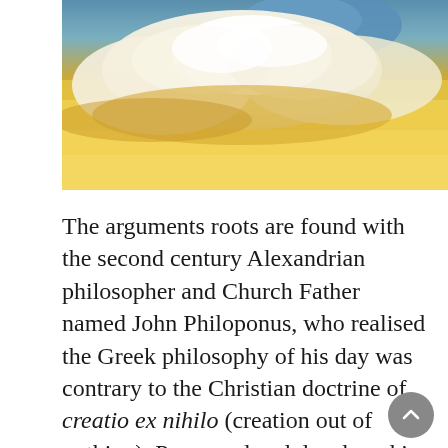[Figure (photo): A painting or photograph of golden-yellow clouds against a blue sky, seen from below or at horizon level. The clouds are large and billowing with warm golden tones.]
The arguments roots are found with the second century Alexandrian philosopher and Church Father named John Philoponus, who realised the Greek philosophy of his day was contrary to the Christian doctrine of creatio ex nihilo (creation out of nothing). Preserved and developed in the Islamic tradition it eventually re-entered Christian philosophical thought by being championed by Bonaventure (1221-1274). As a contemporary of Aquinas they wrote back and forth with each other discussing the soundness of this argument.